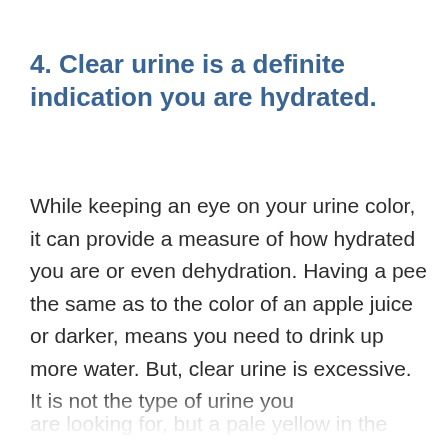4. Clear urine is a definite indication you are hydrated.
While keeping an eye on your urine color, it can provide a measure of how hydrated you are or even dehydration. Having a pee the same as to the color of an apple juice or darker, means you need to drink up more water. But, clear urine is excessive. It is not the type of urine you are looking for, but a pale yellow in the